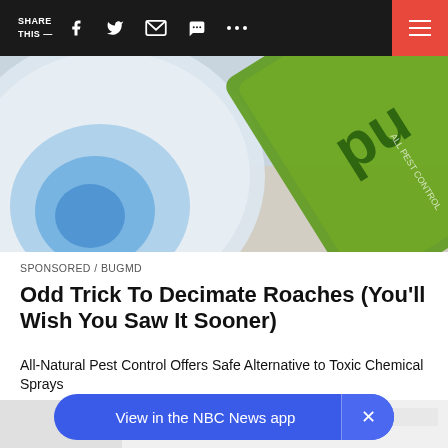SHARE THIS —
[Figure (photo): Hero image showing a circular pest control device (blue and white) on the left and a green spray bottle on the right, partially cut off.]
SPONSORED / BUGMD
Odd Trick To Decimate Roaches (You'll Wish You Saw It Sooner)
All-Natural Pest Control Offers Safe Alternative to Toxic Chemical Sprays
View in the NBC News app